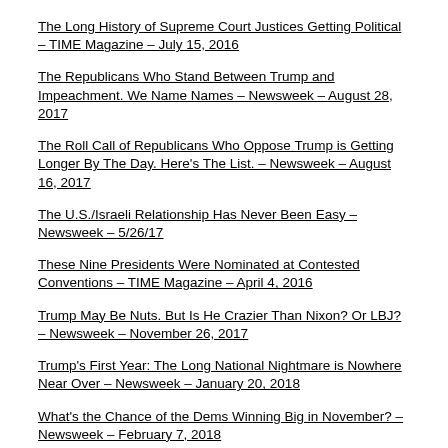The Long History of Supreme Court Justices Getting Political – TIME Magazine – July 15, 2016
The Republicans Who Stand Between Trump and Impeachment. We Name Names – Newsweek – August 28, 2017
The Roll Call of Republicans Who Oppose Trump is Getting Longer By The Day. Here's The List. – Newsweek – August 16, 2017
The U.S./Israeli Relationship Has Never Been Easy – Newsweek – 5/26/17
These Nine Presidents Were Nominated at Contested Conventions – TIME Magazine – April 4, 2016
Trump May Be Nuts. But Is He Crazier Than Nixon? Or LBJ? – Newsweek – November 26, 2017
Trump's First Year: The Long National Nightmare is Nowhere Near Over – Newsweek – January 20, 2018
What's the Chance of the Dems Winning Big in November? – Newsweek – February 7, 2018